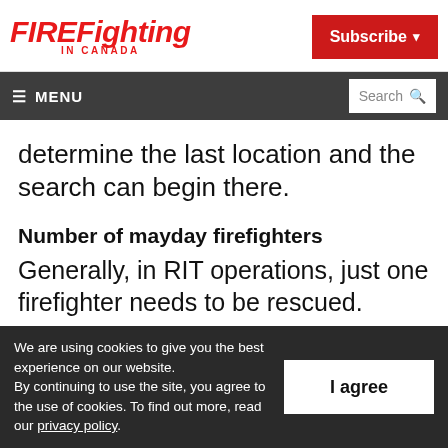FIREFighting IN CANADA
Subscribe
≡ MENU | Search
determine the last location and the search can begin there.
Number of mayday firefighters
Generally, in RIT operations, just one firefighter needs to be rescued.
We are using cookies to give you the best experience on our website. By continuing to use the site, you agree to the use of cookies. To find out more, read our privacy policy.